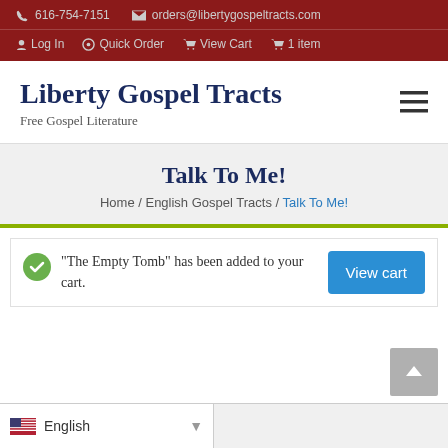616-754-7151  orders@libertygospeltracts.com  Log In  Quick Order  View Cart  1 item
Liberty Gospel Tracts
Free Gospel Literature
Talk To Me!
Home / English Gospel Tracts / Talk To Me!
“The Empty Tomb” has been added to your cart.
English